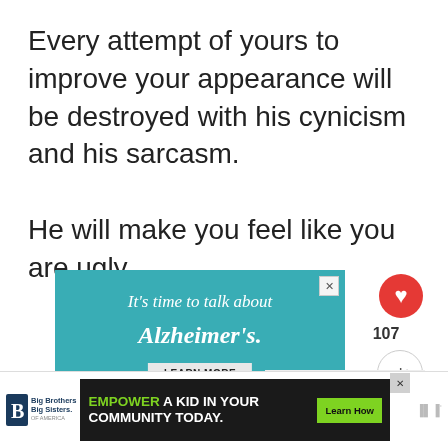Every attempt of yours to improve your appearance will be destroyed with his cynicism and his sarcasm.

He will make you feel like you are ugly.
[Figure (screenshot): Screenshot of a webpage showing an Alzheimer's awareness advertisement ('It’s time to talk about Alzheimer’s. LEARN MORE alz.org/oursto...') with illustration of two elderly figures, social media like button showing 107 likes, share button, a 'WHAT’S NEXT → 7 Signs Of Sexual...' sidebar panel, and a bottom banner ad for Big Brothers Big Sisters reading 'EMPOWER A KID IN YOUR COMMUNITY TODAY. Learn How']